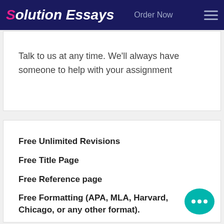Solution Essays  Order Now
Talk to us at any time. We'll always have someone to help with your assignment
Free Unlimited Revisions
Free Title Page
Free Reference page
Free Formatting (APA, MLA, Harvard, Chicago, or any other format).